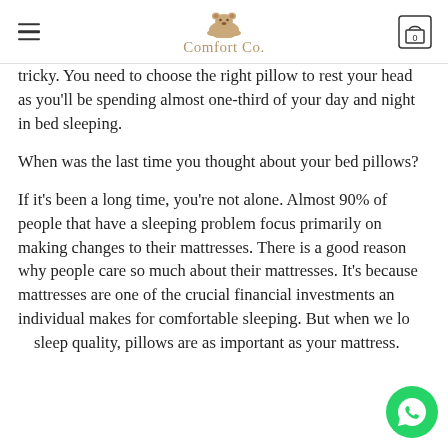Comfort Co.
tricky. You need to choose the right pillow to rest your head as you'll be spending almost one-third of your day and night in bed sleeping.
When was the last time you thought about your bed pillows?
If it's been a long time, you're not alone. Almost 90% of people that have a sleeping problem focus primarily on making changes to their mattresses. There is a good reason why people care so much about their mattresses. It's because mattresses are one of the crucial financial investments an individual makes for comfortable sleeping. But when we look at sleep quality, pillows are as important as your mattress.